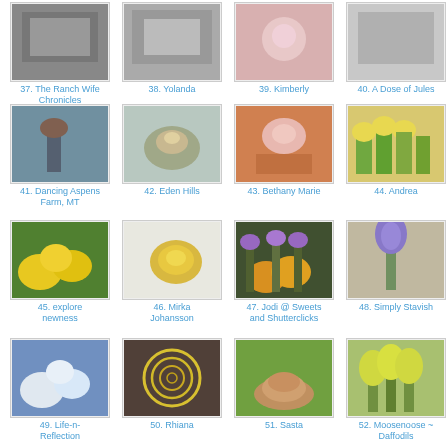[Figure (photo): Row of 4 thumbnail photos with captions: 37. The Ranch Wife Chronicles, 38. Yolanda, 39. Kimberly, 40. A Dose of Jules]
[Figure (photo): Row of 4 thumbnail photos: 41. Dancing Aspens Farm MT (bird on post), 42. Eden Hills (coyote), 43. Bethany Marie (flower), 44. Andrea (daffodils)]
[Figure (photo): Row of 4 thumbnail photos: 45. explore newness (yellow flowers), 46. Mirka Johansson (egg), 47. Jodi @ Sweets and Shutterclicks (crocuses), 48. Simply Stavish (purple flower)]
[Figure (photo): Row of 4 thumbnail photos: 49. Life-n-Reflection (clouds), 50. Rhiana (rings), 51. Sasta (animal), 52. Moosenoose ~ Daffodils (tulips)]